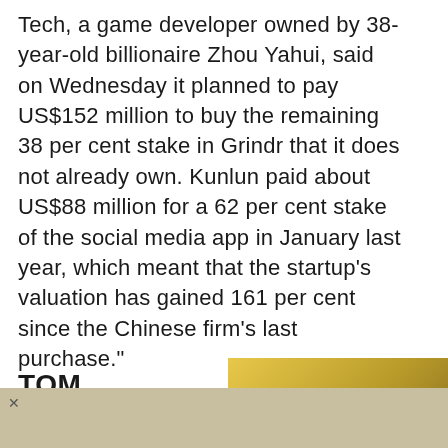Tech, a game developer owned by 38-year-old billionaire Zhou Yahui, said on Wednesday it planned to pay US$152 million to buy the remaining 38 per cent stake in Grindr that it does not already own. Kunlun paid about US$88 million for a 62 per cent stake of the social media app in January last year, which meant that the startup's valuation has gained 161 per cent since the Chinese firm's last purchase.
TOM HARDY
[Figure (photo): Partial photo visible on right side showing a yellow/gold background with a dark circular object (camera lens or similar)]